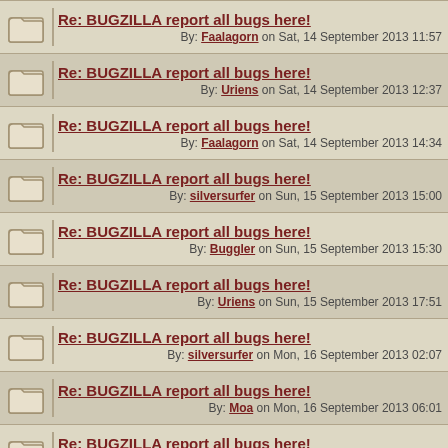Re: BUGZILLA report all bugs here! By: Faalagorn on Sat, 14 September 2013 11:57
Re: BUGZILLA report all bugs here! By: Uriens on Sat, 14 September 2013 12:37
Re: BUGZILLA report all bugs here! By: Faalagorn on Sat, 14 September 2013 14:34
Re: BUGZILLA report all bugs here! By: silversurfer on Sun, 15 September 2013 15:00
Re: BUGZILLA report all bugs here! By: Buggler on Sun, 15 September 2013 15:30
Re: BUGZILLA report all bugs here! By: Uriens on Sun, 15 September 2013 17:51
Re: BUGZILLA report all bugs here! By: silversurfer on Mon, 16 September 2013 02:07
Re: BUGZILLA report all bugs here! By: Moa on Mon, 16 September 2013 06:01
Re: BUGZILLA report all bugs here! By: Flugente on Mon, 16 September 2013 21:41